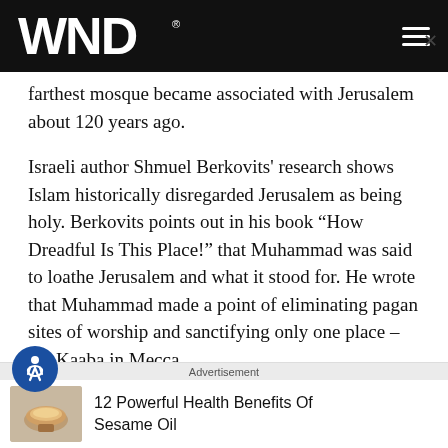WND
farthest mosque became associated with Jerusalem about 120 years ago.
Israeli author Shmuel Berkovits' research shows Islam historically disregarded Jerusalem as being holy. Berkovits points out in his book “How Dreadful Is This Place!” that Muhammad was said to loathe Jerusalem and what it stood for. He wrote that Muhammad made a point of eliminating pagan sites of worship and sanctifying only one place – the Kaaba in Mecca.
As late as the 14th century, Islamic scholar Taqi al-Din
Advertisement
12 Powerful Health Benefits Of Sesame Oil